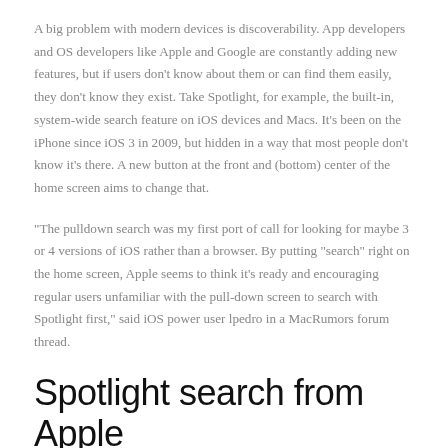A big problem with modern devices is discoverability. App developers and OS developers like Apple and Google are constantly adding new features, but if users don't know about them or can find them easily, they don't know they exist. Take Spotlight, for example, the built-in, system-wide search feature on iOS devices and Macs. It's been on the iPhone since iOS 3 in 2009, but hidden in a way that most people don't know it's there. A new button at the front and (bottom) center of the home screen aims to change that.
"The pulldown search was my first port of call for looking for maybe 3 or 4 versions of iOS rather than a browser. By putting "search" right on the home screen, Apple seems to think it's ready and encouraging regular users unfamiliar with the pull-down screen to search with Spotlight first," said iOS power user lpedro in a MacRumors forum thread.
Spotlight search from Apple
Spotlight is Apple's search utility, and it's embedded pretty much